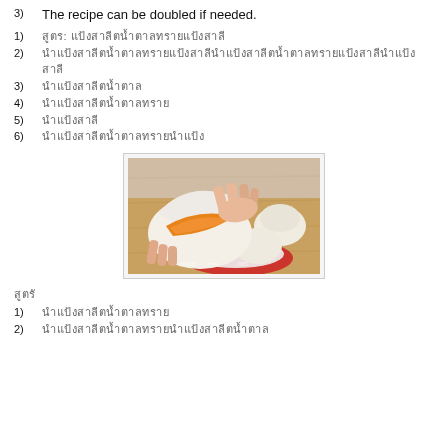3)  The recipe can be doubled if needed.
1)  [Thai text: ingredient/step 1]
2)  [Thai text: longer step 2]
3)  [Thai text: step 3]
4)  [Thai text: step 4]
5)  [Thai text: step 5]
6)  [Thai text: step 6]
[Figure (photo): Close-up photograph of hands pulling apart a steamed bun (baozi/mantou) to reveal an orange/yellow filling, on a wooden cutting board with a red plate and more buns in background. Watermark: morepet.net]
[Thai section title]
1)  [Thai text: sub-step 1]
2)  [Thai text: sub-step 2]